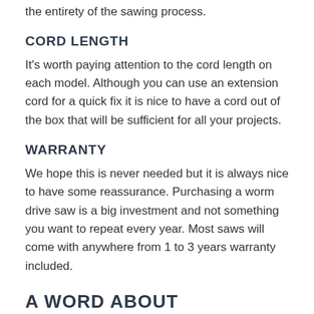the entirety of the sawing process.
CORD LENGTH
It's worth paying attention to the cord length on each model. Although you can use an extension cord for a quick fix it is nice to have a cord out of the box that will be sufficient for all your projects.
WARRANTY
We hope this is never needed but it is always nice to have some reassurance. Purchasing a worm drive saw is a big investment and not something you want to repeat every year. Most saws will come with anywhere from 1 to 3 years warranty included.
A WORD ABOUT CORDLESS WORM STYLE